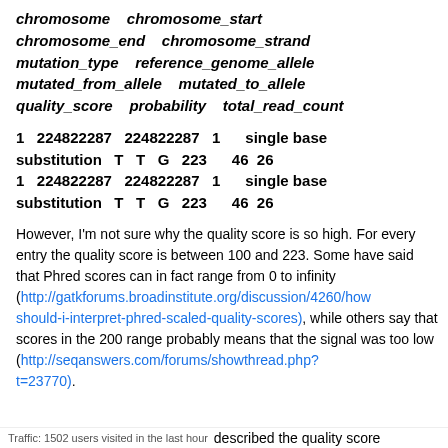chromosome    chromosome_start chromosome_end    chromosome_strand mutation_type    reference_genome_allele mutated_from_allele    mutated_to_allele quality_score    probability    total_read_count
1    224822287    224822287    1        single base substitution    T    T    G    223        46    26 1    224822287    224822287    1        single base substitution    T    T    G    223        46    26
However, I'm not sure why the quality score is so high. For every entry the quality score is between 100 and 223. Some have said that Phred scores can in fact range from 0 to infinity (http://gatkforums.broadinstitute.org/discussion/4260/how-should-i-interpret-phred-scaled-quality-scores), while others say that scores in the 200 range probably means that the signal was too low (http://seqanswers.com/forums/showthread.php?t=23770).
Traffic: 1502 users visited in the last hour described the quality score